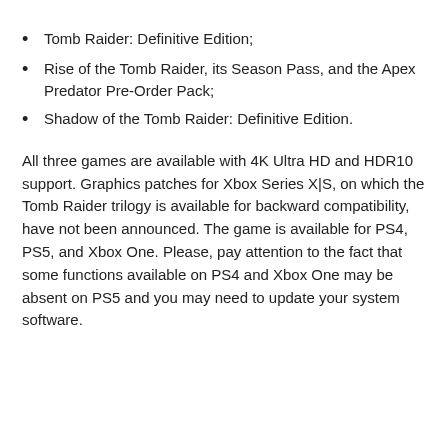Tomb Raider: Definitive Edition;
Rise of the Tomb Raider, its Season Pass, and the Apex Predator Pre-Order Pack;
Shadow of the Tomb Raider: Definitive Edition.
All three games are available with 4K Ultra HD and HDR10 support. Graphics patches for Xbox Series X|S, on which the Tomb Raider trilogy is available for backward compatibility, have not been announced. The game is available for PS4, PS5, and Xbox One. Please, pay attention to the fact that some functions available on PS4 and Xbox One may be absent on PS5 and you may need to update your system software.